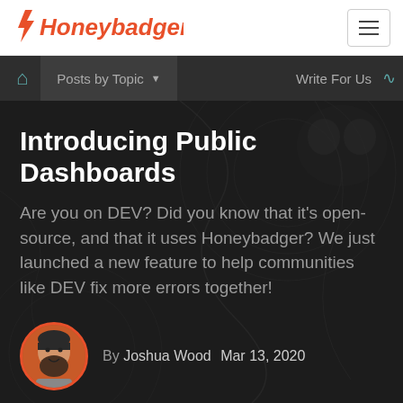[Figure (logo): Honeybadger logo with lightning bolt icon and orange/red text]
Posts by Topic  Write For Us
Introducing Public Dashboards
Are you on DEV? Did you know that it's open-source, and that it uses Honeybadger? We just launched a new feature to help communities like DEV fix more errors together!
By Joshua Wood  Mar 13, 2020